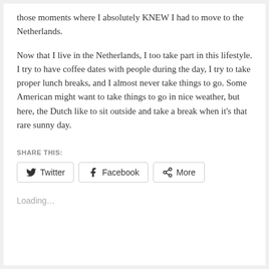those moments where I absolutely KNEW I had to move to the Netherlands.
Now that I live in the Netherlands, I too take part in this lifestyle. I try to have coffee dates with people during the day, I try to take proper lunch breaks, and I almost never take things to go. Some American might want to take things to go in nice weather, but here, the Dutch like to sit outside and take a break when it's that rare sunny day.
SHARE THIS:
Twitter  Facebook  More
Loading...